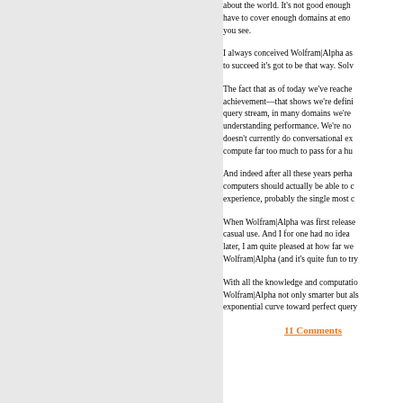about the world. It's not good enough to have to cover enough domains at enough depth for you to see.
I always conceived Wolfram|Alpha as to succeed it's got to be that way. Solv...
The fact that as of today we've reached achievement—that shows we're defini... query stream, in many domains we're understanding performance. We're no doesn't currently do conversational ex compute far too much to pass for a hu...
And indeed after all these years perha computers should actually be able to c experience, probably the single most c...
When Wolfram|Alpha was first release casual use. And I for one had no idea later, I am quite pleased at how far we Wolfram|Alpha (and it's quite fun to try...
With all the knowledge and computatio Wolfram|Alpha not only smarter but al exponential curve toward perfect query...
11 Comments